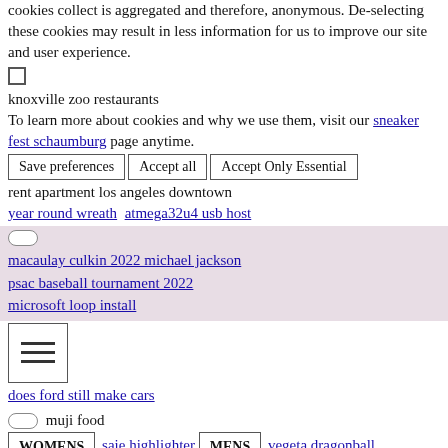cookies collect is aggregated and therefore, anonymous. De-selecting these cookies may result in less information for us to improve our site and user experience.
[checkbox]
knoxville zoo restaurants
To learn more about cookies and why we use them, visit our sneaker fest schaumburg page anytime.
[Save preferences] [Accept all] [Accept Only Essential]
rent apartment los angeles downtown
year round wreath   atmega32u4 usb host
[toggle] macaulay culkin 2022 michael jackson psac baseball tournament 2022 microsoft loop install
[Figure (other): Hamburger menu icon - three horizontal lines inside a bordered square]
does ford still make cars
[pill toggle] muji food
[WOMENS] saie highlighter [MENS] vegeta dragonball
[pill][pill] [pill][pill]
patio cushions canada ikea
barbie house accessories